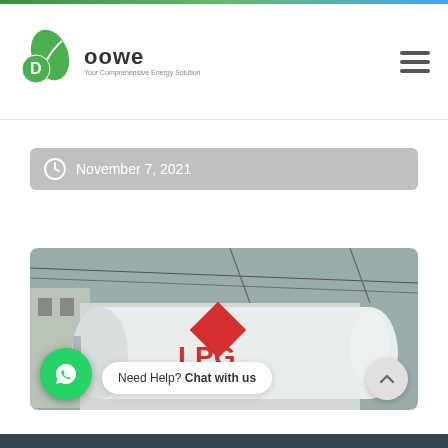Doowe
November 7, 2021
[Figure (photo): A white LPG (Liquefied Petroleum Gas) tank with a red diamond hazard symbol and red 'LPG' and 'NO SMOKING' text, photographed outdoors with buildings and wires in the background.]
Need Help? Chat with us